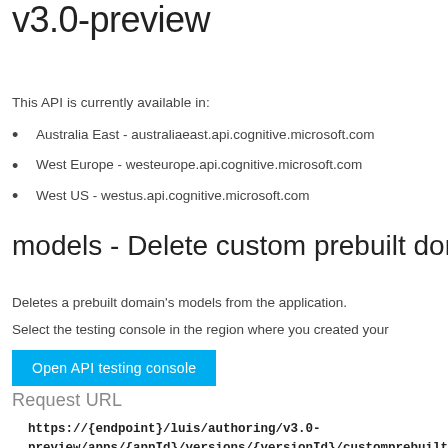LUIS Programmatic APIs v3.0-preview
This API is currently available in:
Australia East - australiaeast.api.cognitive.microsoft.com
West Europe - westeurope.api.cognitive.microsoft.com
West US - westus.api.cognitive.microsoft.com
models - Delete custom prebuilt domain models
Deletes a prebuilt domain's models from the application.
Select the testing console in the region where you created your application.
Open API testing console
Request URL
https://{endpoint}/luis/authoring/v3.0-preview/apps/{appId}/versions/{versionId}/customprebuiltdomains